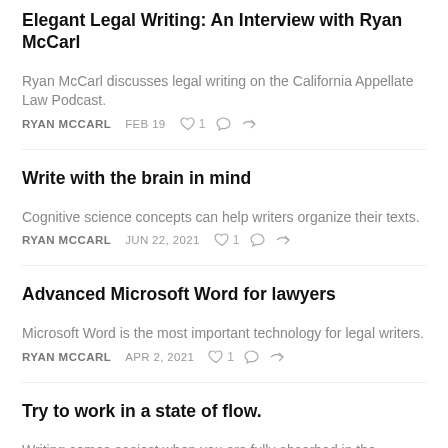Elegant Legal Writing: An Interview with Ryan McCarl
Ryan McCarl discusses legal writing on the California Appellate Law Podcast.
RYAN MCCARL   FEB 19   ♡ 1   ○   ↗
Write with the brain in mind
Cognitive science concepts can help writers organize their texts.
RYAN MCCARL   JUN 22, 2021   ♡ 1   ○   ↗
Advanced Microsoft Word for lawyers
Microsoft Word is the most important technology for legal writers.
RYAN MCCARL   APR 2, 2021   ♡ 1   ○   ↗
Try to work in a state of flow.
Writing comes easiest when you are fully absorbed in the